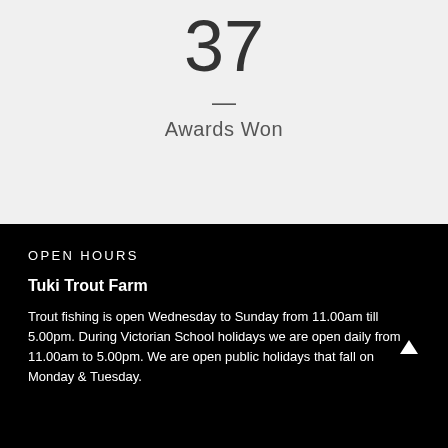37
—
Awards Won
OPEN HOURS
Tuki Trout Farm
Trout fishing is open Wednesday to Sunday from 11.00am till 5.00pm. During Victorian School holidays we are open daily from 11.00am to 5.00pm. We are open public holidays that fall on Monday & Tuesday.